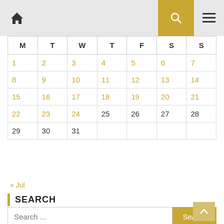Home | Search | Menu
| M | T | W | T | F | S | S |
| --- | --- | --- | --- | --- | --- | --- |
| 1 | 2 | 3 | 4 | 5 | 6 | 7 |
| 8 | 9 | 10 | 11 | 12 | 13 | 14 |
| 15 | 16 | 17 | 18 | 19 | 20 | 21 |
| 22 | 23 | 24 | 25 | 26 | 27 | 28 |
| 29 | 30 | 31 |  |  |  |  |
« Jul
SEARCH
Search ...